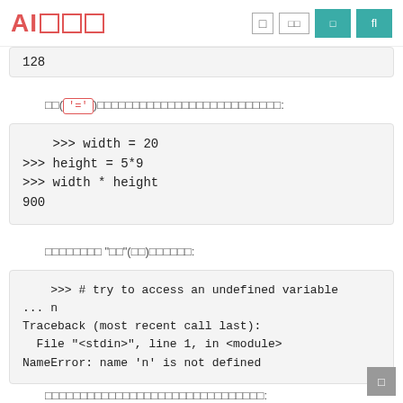AI□□□
128
□□( '=' )□□□□□□□□□□□□□□□□□□□□□□□□□□□:
>>> width = 20
>>> height = 5*9
>>> width * height
900
□□□□□□□□ "□□"(□□)□□□□□□:
>>> # try to access an undefined variable
... n
Traceback (most recent call last):
  File "<stdin>", line 1, in <module>
NameError: name 'n' is not defined
□□□□□□□□□□□□□□□□□□□□□□□□□□□□□□□: